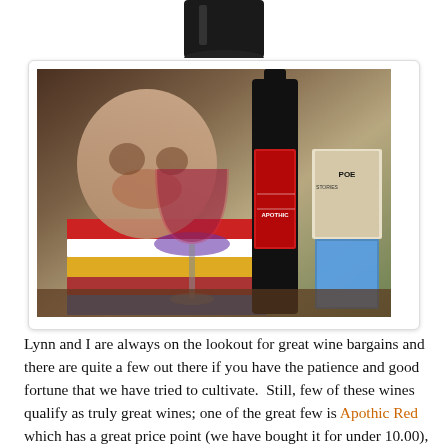[Figure (photo): Top portion of a dark product bottle (bottom of bottle visible, cropped at top)]
[Figure (photo): Photo of Apothic Red wine bottle next to a wine glass filled with red wine, set against a backdrop of books including a Poe stories book and decorative items including a skull]
Lynn and I are always on the lookout for great wine bargains and there are quite a few out there if you have the patience and good fortune that we have tried to cultivate.  Still, few of these wines qualify as truly great wines; one of the great few is Apothic Red which has a great price point (we have bought it for under 10.00), a great label, a great, full bodied flavor (we detected silk and smoke among others; a by product of the long April frost, mild summer and dry fall of